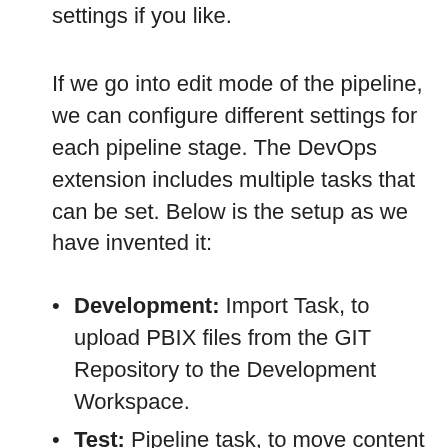settings if you like.
If we go into edit mode of the pipeline, we can configure different settings for each pipeline stage. The DevOps extension includes multiple tasks that can be set. Below is the setup as we have invented it:
Development: Import Task, to upload PBIX files from the GIT Repository to the Development Workspace.
Test: Pipeline task, to move content from Development to the Test Workspace.
Production: Pipeline task, to move content from Test to the Production Workspace.